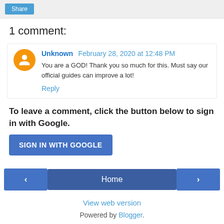[Figure (other): Share button in gray bar at top]
1 comment:
Unknown February 28, 2020 at 12:48 PM
You are a GOD! Thank you so much for this. Must say our official guides can improve a lot!
Reply
To leave a comment, click the button below to sign in with Google.
SIGN IN WITH GOOGLE
< Home >
View web version
Powered by Blogger.